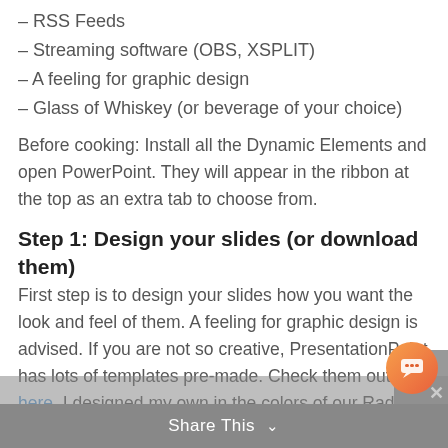– RSS Feeds
– Streaming software (OBS, XSPLIT)
– A feeling for graphic design
– Glass of Whiskey (or beverage of your choice)
Before cooking: Install all the Dynamic Elements and open PowerPoint. They will appear in the ribbon at the top as an extra tab to choose from.
Step 1: Design your slides (or download them)
First step is to design your slides how you want the look and feel of them. A feeling for graphic design is advised. If you are not so creative, PresentationPoint has lots of templates pre-made. Check them out here. I designed my own in the colors of our Radio station. As an example, a radio show slide, a weather slide, traffic information slide and a news slide that gathe… news with the help of an RSS-feed.
Share This